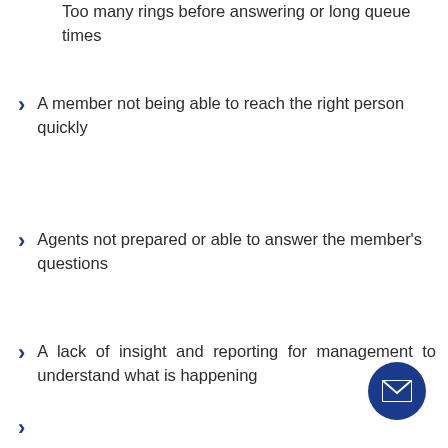Too many rings before answering or long queue times
A member not being able to reach the right person quickly
Agents not prepared or able to answer the member's questions
A lack of insight and reporting for management to understand what is happening
Availibility...